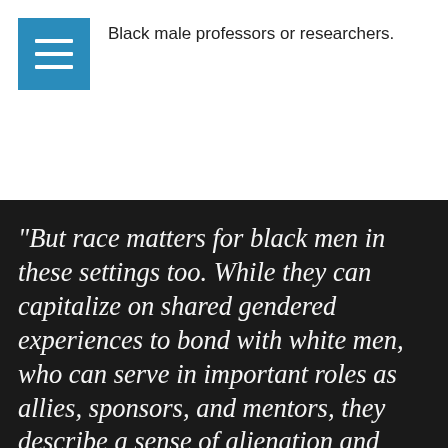Black male professors or researchers.
"But race matters for black men in these settings too. While they can capitalize on shared gendered experiences to bond with white men, who can serve in important roles as allies, sponsors, and mentors, they describe a sense of alienation and